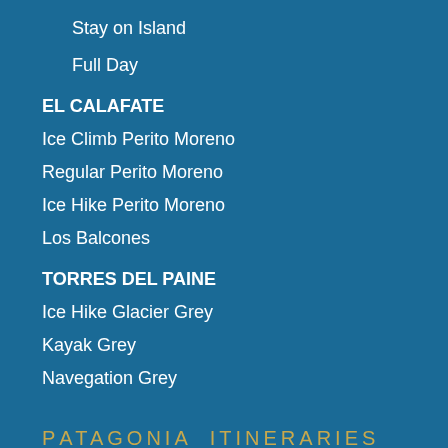Stay on Island
Full Day
EL CALAFATE
Ice Climb Perito Moreno
Regular Perito Moreno
Ice Hike Perito Moreno
Los Balcones
TORRES DEL PAINE
Ice Hike Glacier Grey
Kayak Grey
Navegation Grey
Patagonia Itineraries
PREMIUM